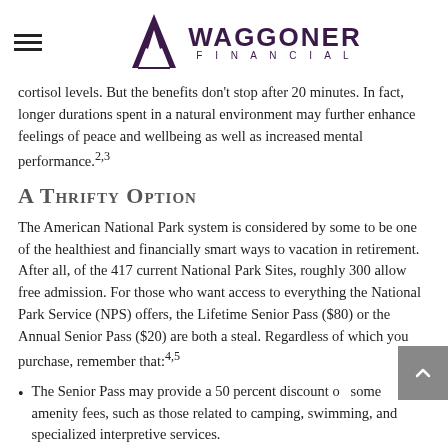Waggoner Financial
cortisol levels. But the benefits don't stop after 20 minutes. In fact, longer durations spent in a natural environment may further enhance feelings of peace and wellbeing as well as increased mental performance.2,3
A Thrifty Option
The American National Park system is considered by some to be one of the healthiest and financially smart ways to vacation in retirement. After all, of the 417 current National Park Sites, roughly 300 allow free admission. For those who want access to everything the National Park Service (NPS) offers, the Lifetime Senior Pass ($80) or the Annual Senior Pass ($20) are both a steal. Regardless of which you purchase, remember that:4,5
The Senior Pass may provide a 50 percent discount on some amenity fees, such as those related to camping, swimming, and specialized interpretive services.
The Senior Pass generally does NOT cover or reduce